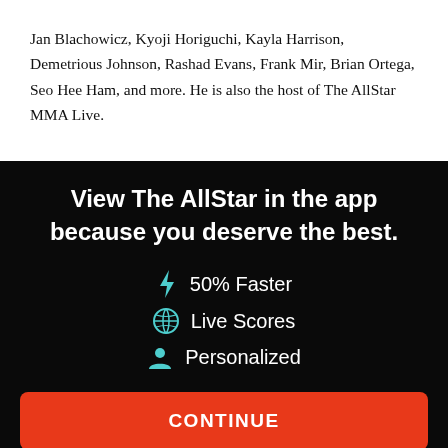Jan Blachowicz, Kyoji Horiguchi, Kayla Harrison, Demetrious Johnson, Rashad Evans, Frank Mir, Brian Ortega, Seo Hee Ham, and more. He is also the host of The AllStar MMA Live.
View The AllStar in the app because you deserve the best.
⚡ 50% Faster
⚽ Live Scores
👤 Personalized
CONTINUE
or go to the mobile site